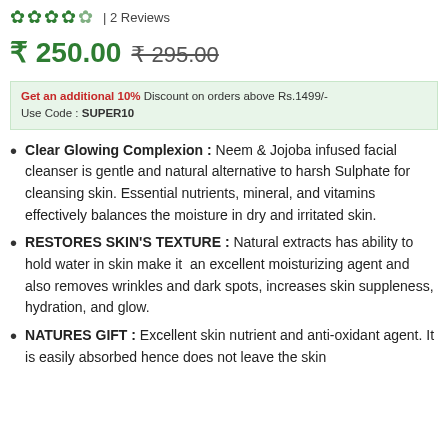★★★★½ | 2 Reviews
₹ 250.00  ₹ 295.00
Get an additional 10% Discount on orders above Rs.1499/- Use Code : SUPER10
Clear Glowing Complexion : Neem & Jojoba infused facial cleanser is gentle and natural alternative to harsh Sulphate for cleansing skin. Essential nutrients, mineral, and vitamins effectively balances the moisture in dry and irritated skin.
RESTORES SKIN'S TEXTURE : Natural extracts has ability to hold water in skin make it  an excellent moisturizing agent and also removes wrinkles and dark spots, increases skin suppleness, hydration, and glow.
NATURES GIFT : Excellent skin nutrient and anti-oxidant agent. It is easily absorbed hence does not leave the skin